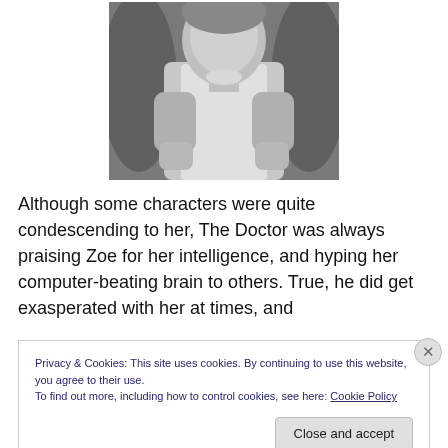[Figure (photo): Black and white photograph of a woman seated in a chair, wearing a light-colored top, facing the camera.]
Although some characters were quite condescending to her, The Doctor was always praising Zoe for her intelligence, and hyping her computer-beating brain to others. True, he did get exasperated with her at times, and
Privacy & Cookies: This site uses cookies. By continuing to use this website, you agree to their use.
To find out more, including how to control cookies, see here: Cookie Policy
Close and accept